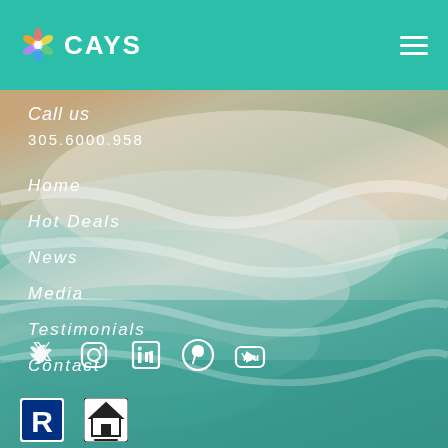CAYS
Call us
305.6000.958
Home
Hot Deals
News
Media
Testimonials
Contact
[Figure (infographic): Social media icons row: Twitter, Instagram, LinkedIn, Pinterest, YouTube]
[Figure (infographic): Realtor R logo badge and Equal Housing Opportunity logo]
[Figure (photo): Aerial ocean wave photo showing turquoise water crashing on sandy beach]